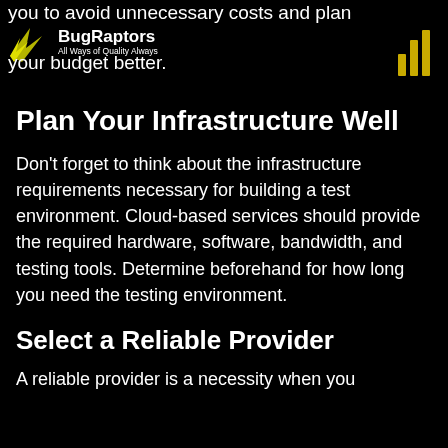you to avoid unnecessary costs and plan your budget better.
[Figure (logo): BugRaptors logo with wing icon and tagline 'All Ways of Quality Always']
Plan Your Infrastructure Well
Don't forget to think about the infrastructure requirements necessary for building a test environment. Cloud-based services should provide the required hardware, software, bandwidth, and testing tools. Determine beforehand for how long you need the testing environment.
Select a Reliable Provider
A reliable provider is a necessity when you